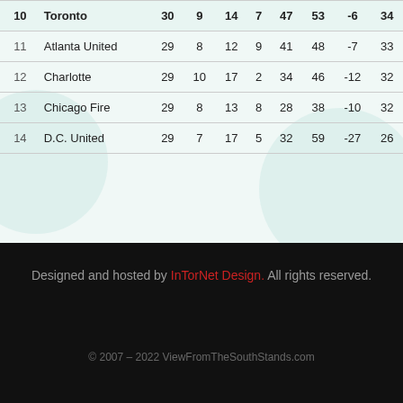| # | Team | GP | W | L | T | GF | GA | GD | Pts |
| --- | --- | --- | --- | --- | --- | --- | --- | --- | --- |
| 10 | Toronto | 30 | 9 | 14 | 7 | 47 | 53 | -6 | 34 |
| 11 | Atlanta United | 29 | 8 | 12 | 9 | 41 | 48 | -7 | 33 |
| 12 | Charlotte | 29 | 10 | 17 | 2 | 34 | 46 | -12 | 32 |
| 13 | Chicago Fire | 29 | 8 | 13 | 8 | 28 | 38 | -10 | 32 |
| 14 | D.C. United | 29 | 7 | 17 | 5 | 32 | 59 | -27 | 26 |
Designed and hosted by InTorNet Design. All rights reserved.
© 2007 - 2022 ViewFromTheSouthStands.com